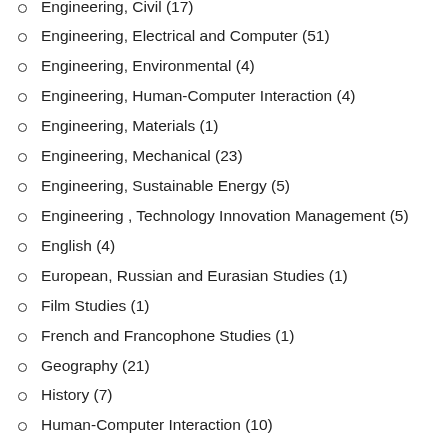Engineering, Civil (17)
Engineering, Electrical and Computer (51)
Engineering, Environmental (4)
Engineering, Human-Computer Interaction (4)
Engineering, Materials (1)
Engineering, Mechanical (23)
Engineering, Sustainable Energy (5)
Engineering , Technology Innovation Management (5)
English (4)
European, Russian and Eurasian Studies (1)
Film Studies (1)
French and Francophone Studies (1)
Geography (21)
History (7)
Human-Computer Interaction (10)
Industrial Design (5)
Information Technology (1)
International Affairs (3)